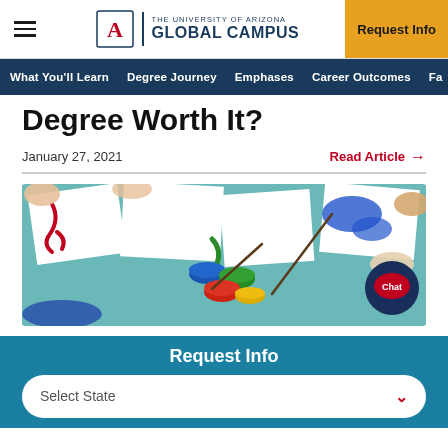THE UNIVERSITY OF ARIZONA GLOBAL CAMPUS | Request Info
What You'll Learn | Degree Journey | Emphases | Career Outcomes | Fa...
Degree Worth It?
January 27, 2021
Read Article →
[Figure (photo): Children's hands painting colorful artwork on white paper with paint brushes and open paint containers on a teal table. A chat button is overlaid in the bottom right corner.]
Request Info
Select State